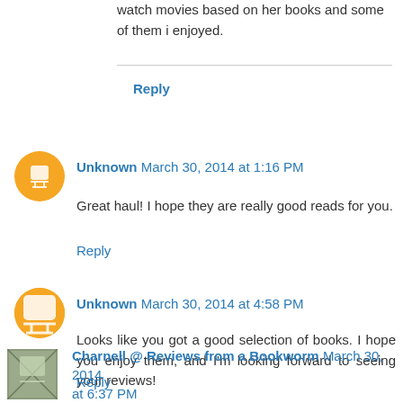watch movies based on her books and some of them i enjoyed.
Reply
Unknown March 30, 2014 at 1:16 PM
Great haul! I hope they are really good reads for you.
Reply
Unknown March 30, 2014 at 4:58 PM
Looks like you got a good selection of books. I hope you enjoy them, and I'm looking forward to seeing your reviews!
Reply
Charnell @ Reviews from a Bookworm March 30, 2014 at 6:37 PM